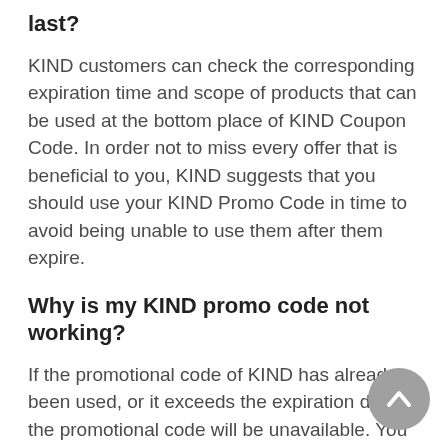last?
KIND customers can check the corresponding expiration time and scope of products that can be used at the bottom place of KIND Coupon Code. In order not to miss every offer that is beneficial to you, KIND suggests that you should use your KIND Promo Code in time to avoid being unable to use them after them expire.
Why is my KIND promo code not working?
If the promotional code of KIND has already been used, or it exceeds the expiration date, the promotional code will be unavailable. You can check KIND Coupon Code to see if the above situation occurs. There are sometimes products of the same type on kindsnacks.com. You need to confirm